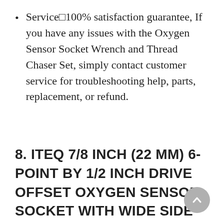Service□100% satisfaction guarantee, If you have any issues with the Oxygen Sensor Socket Wrench and Thread Chaser Set, simply contact customer service for troubleshooting help, parts, replacement, or refund.
8. ITEQ 7/8 INCH (22 MM) 6-POINT BY 1/2 INCH DRIVE OFFSET OXYGEN SENSOR SOCKET WITH WIDE SIDE CUTOUT FOR PREVENTING DAMAGE TO WIRES